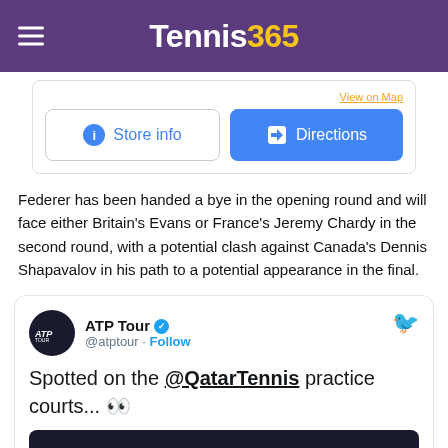Tennis365
[Figure (screenshot): Google Maps store card buttons: Store info and Directions]
Federer has been handed a bye in the opening round and will face either Britain's Evans or France's Jeremy Chardy in the second round, with a potential clash against Canada's Dennis Shapavalov in his path to a potential appearance in the final.
[Figure (screenshot): Tweet from ATP Tour (@atptour): Spotted on the @QatarTennis practice courts... with an ATP Tour video thumbnail showing Watch on Twitter]